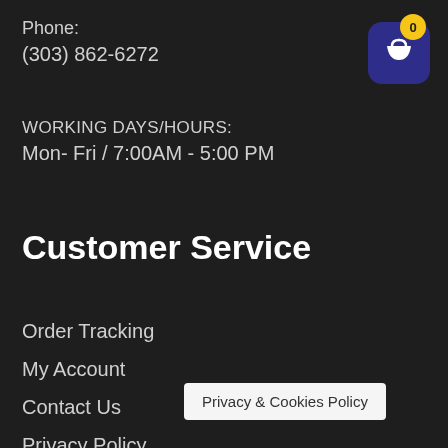Phone:
(303) 862-6272
WORKING DAYS/HOURS:
Mon- Fri / 7:00AM - 5:00 PM
[Figure (illustration): Shopping cart icon with badge showing 0, dark blue rounded square background, yellow circular badge in top-right corner]
Customer Service
Order Tracking
My Account
Contact Us
Privacy Policy
Shipping Policy
Return Policy
Customer S…
Warranty
Privacy & Cookies Policy